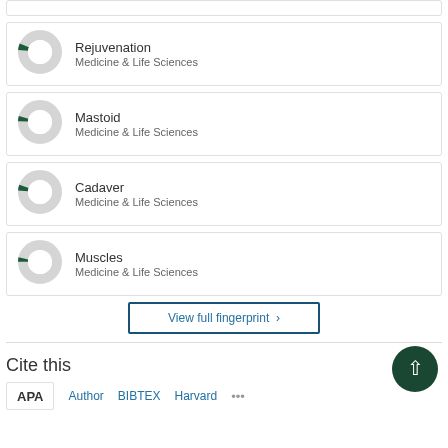[Figure (donut-chart): Small donut chart with dark green slice for Rejuvenation keyword]
Rejuvenation
Medicine & Life Sciences
[Figure (donut-chart): Small donut chart with dark green slice for Mastoid keyword]
Mastoid
Medicine & Life Sciences
[Figure (donut-chart): Small donut chart with dark green slice for Cadaver keyword]
Cadaver
Medicine & Life Sciences
[Figure (donut-chart): Small donut chart with dark green slice for Muscles keyword]
Muscles
Medicine & Life Sciences
View full fingerprint >
Cite this
APA  Author  BIBTEX  Harvard  ...